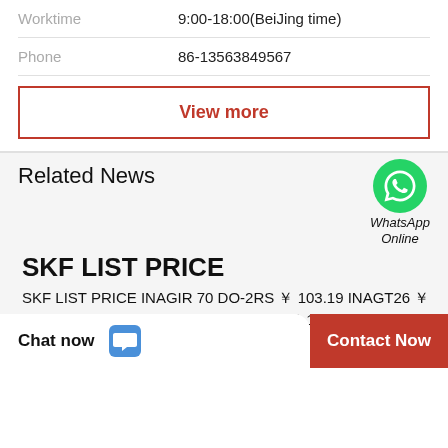Worktime   9:00-18:00(BeiJing time)
Phone   86-13563849567
View more
Related News
[Figure (logo): WhatsApp green phone icon with label WhatsApp Online]
SKF LIST PRICE
SKF LIST PRICE INAGIR 70 DO-2RS ￥ 103.19 INAGT26 ￥ 187.21 INA1007 ￥ 116.98 INANA4913 ￥ 111.03 INAGE25-KTT-B ￥ 55.35 INAPCJT50-N ￥ 133.33 INAGE320-DO ￥ 15.43 INASL183005 ￥ 80.63 INAF-82042 ￥
Chat now
Contact Now